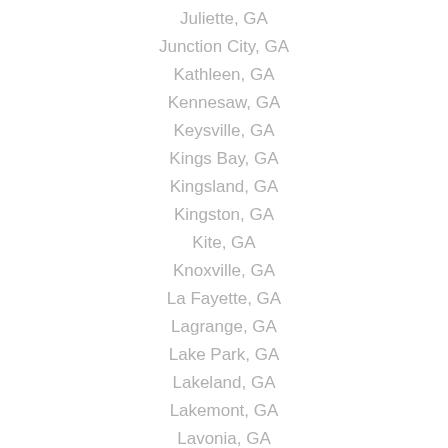Juliette, GA
Junction City, GA
Kathleen, GA
Kennesaw, GA
Keysville, GA
Kings Bay, GA
Kingsland, GA
Kingston, GA
Kite, GA
Knoxville, GA
La Fayette, GA
Lagrange, GA
Lake Park, GA
Lakeland, GA
Lakemont, GA
Lavonia, GA